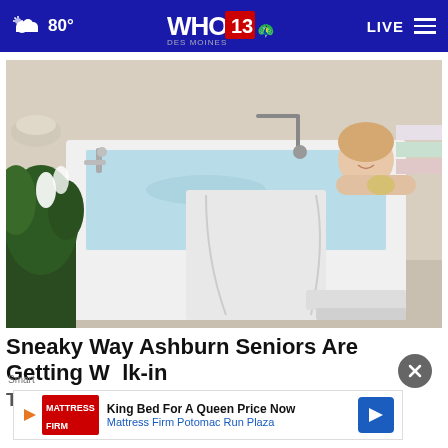80° WHO 13 DES MOINES LIVE
[Figure (photo): Woman relaxing in a white walk-in bathtub with jets, holding a loofah, in a bathroom setting with plants and towels]
Sneaky Way Ashburn Seniors Are Getting Walk-in Tubs For A Fraction Of The Price
Smart
[Figure (infographic): Advertisement: King Bed For A Queen Price Now - Mattress Firm Potomac Run Plaza with Mattress Firm logo and blue navigation arrow]